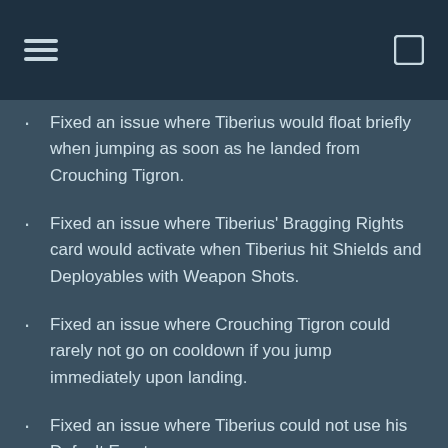Fixed an issue where Tiberius would float briefly when jumping as soon as he landed from Crouching Tigron.
Fixed an issue where Tiberius' Bragging Rights card would activate when Tiberius hit Shields and Deployables with Weapon Shots.
Fixed an issue where Crouching Tigron could rarely not go on cooldown if you jump immediately upon landing.
Fixed an issue where Tiberius could not use his Default Emote.
Fixed an issue where Heroe's Blade would not…